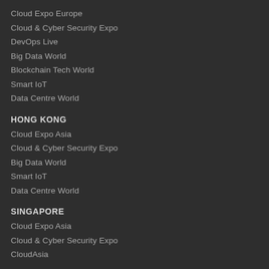Cloud Expo Europe
Cloud & Cyber Security Expo
DevOps Live
Big Data World
Blockchain Tech World
Smart IoT
Data Centre World
HONG KONG
Cloud Expo Asia
Cloud & Cyber Security Expo
Big Data World
Smart IoT
Data Centre World
SINGAPORE
Cloud Expo Asia
Cloud & Cyber Security Expo
CloudAsia